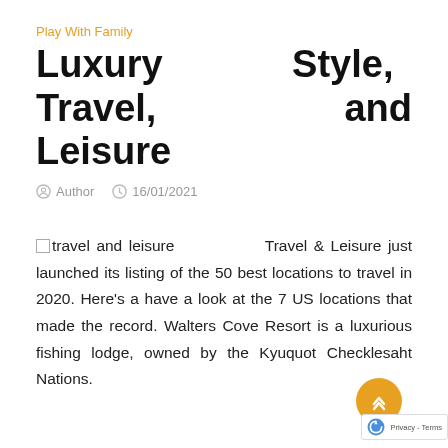Play With Family
Luxury Style, Travel, and Leisure
Author  16/01/2021
travel and leisure   Travel & Leisure just launched its listing of the 50 best locations to travel in 2020. Here's a have a look at the 7 US locations that made the record. Walters Cove Resort is a luxurious fishing lodge, owned by the Kyuquot Checklesaht Nations.